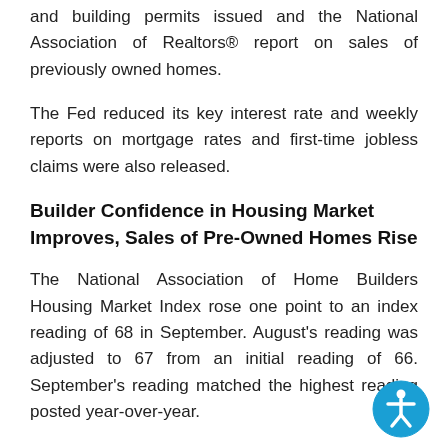and building permits issued and the National Association of Realtors® report on sales of previously owned homes.
The Fed reduced its key interest rate and weekly reports on mortgage rates and first-time jobless claims were also released.
Builder Confidence in Housing Market Improves, Sales of Pre-Owned Homes Rise
The National Association of Home Builders Housing Market Index rose one point to an index reading of 68 in September. August's reading was adjusted to 67 from an initial reading of 66. September's reading matched the highest reading posted year-over-year.